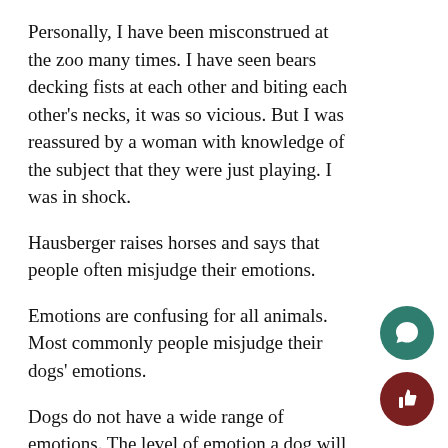Personally, I have been misconstrued at the zoo many times. I have seen bears decking fists at each other and biting each other’s necks, it was so vicious. But I was reassured by a woman with knowledge of the subject that they were just playing. I was in shock.
Hausberger raises horses and says that people often misjudge their emotions.
Emotions are confusing for all animals. Most commonly people misjudge their dogs’ emotions.
Dogs do not have a wide range of emotions. The level of emotion a dog will ever experience is the same as an infant who is two-two and one half years old according to Stanley Coren on Modern Dog. Dogs will only experience basic emotions: joy, fear, anger, disgust and love.